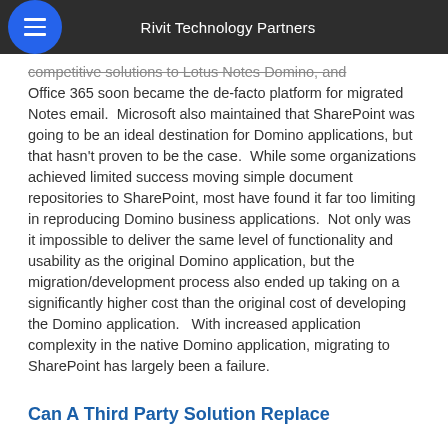Rivit Technology Partners
competitive solutions to Lotus Notes Domino, and Office 365 soon became the de-facto platform for migrated Notes email.  Microsoft also maintained that SharePoint was going to be an ideal destination for Domino applications, but that hasn't proven to be the case.  While some organizations achieved limited success moving simple document repositories to SharePoint, most have found it far too limiting in reproducing Domino business applications.  Not only was it impossible to deliver the same level of functionality and usability as the original Domino application, but the migration/development process also ended up taking on a significantly higher cost than the original cost of developing the Domino application.   With increased application complexity in the native Domino application, migrating to SharePoint has largely been a failure.
Can A Third Party Solution Replace